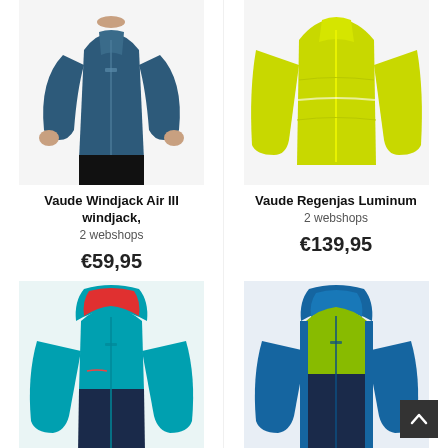[Figure (photo): Vaude Windjack Air III windjack – man wearing navy blue zip-up athletic jacket, black shorts, white background]
Vaude Windjack Air III windjack,
2 webshops
€59,95
[Figure (photo): Vaude Regenjas Luminum – bright yellow-green lightweight cycling rain jacket on white background]
Vaude Regenjas Luminum
2 webshops
€139,95
[Figure (photo): Children's or youth teal/turquoise and navy Vaude jacket with red accents and hood]
[Figure (photo): Blue and lime green two-tone Vaude softshell jacket with hood and dark navy lower panels]